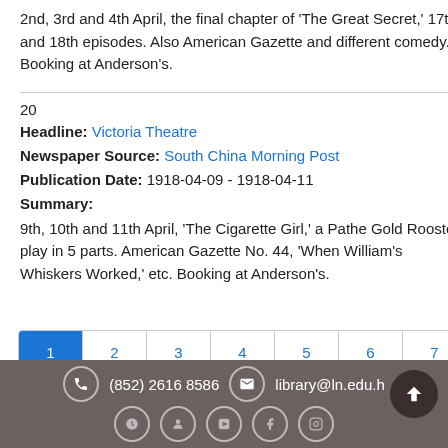2nd, 3rd and 4th April, the final chapter of 'The Great Secret,' 17th and 18th episodes. Also American Gazette and different comedy. Booking at Anderson's.
20
Headline: Victoria Theatre
Newspaper Source: South China Morning Post
Publication Date: 1918-04-09 - 1918-04-11
Summary:
9th, 10th and 11th April, 'The Cigarette Girl,' a Pathe Gold Rooster play in 5 parts. American Gazette No. 44, 'When William's Whiskers Worked,' etc. Booking at Anderson's.
(852) 2616 8586  library@ln.edu.hk